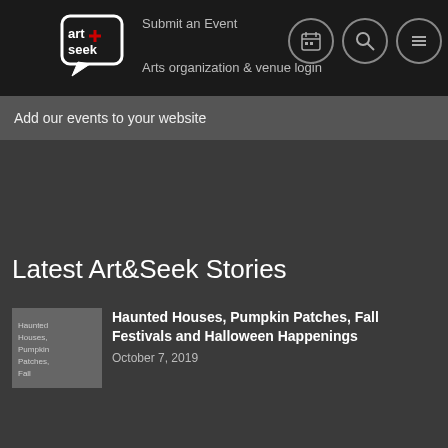Submit an Event | Arts organization & venue login
[Figure (logo): Art&Seek logo - white speech bubble with 'art seek' text inside]
Add our events to your website
Latest Art&Seek Stories
[Figure (photo): Thumbnail image for Haunted Houses story]
Haunted Houses, Pumpkin Patches, Fall Festivals and Halloween Happenings
October 7, 2019